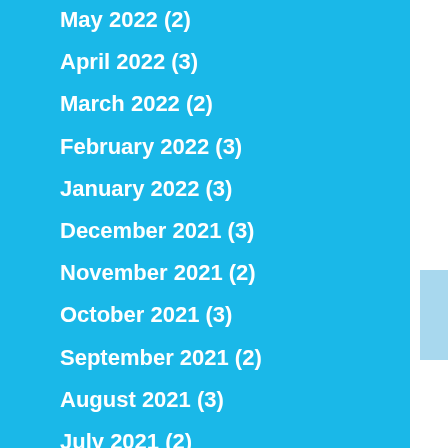May 2022 (2)
April 2022 (3)
March 2022 (2)
February 2022 (3)
January 2022 (3)
December 2021 (3)
November 2021 (2)
October 2021 (3)
September 2021 (2)
August 2021 (3)
July 2021 (2)